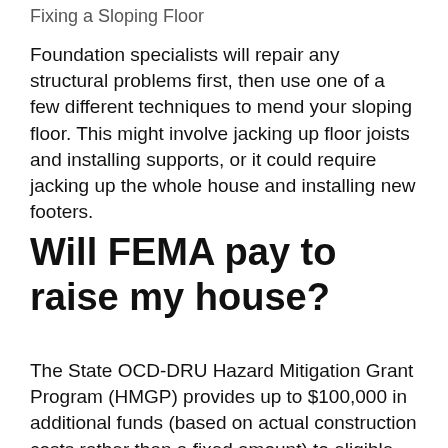Fixing a Sloping Floor
Foundation specialists will repair any structural problems first, then use one of a few different techniques to mend your sloping floor. This might involve jacking up floor joists and installing supports, or it could require jacking up the whole house and installing new footers.
Will FEMA pay to raise my house?
The State OCD-DRU Hazard Mitigation Grant Program (HMGP) provides up to $100,000 in additional funds (based on actual construction costs rather than a fixed amount) to eligible homeowners to elevate